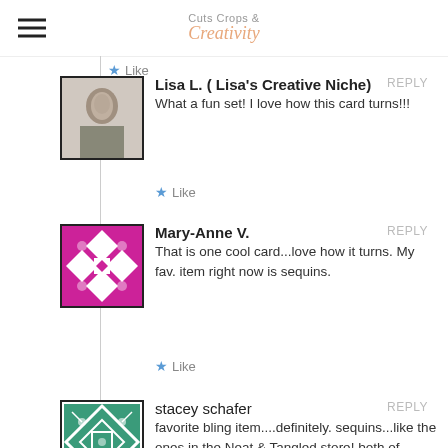Cuts Crops & Creativity
★ Like
Lisa L. ( Lisa's Creative Niche)
What a fun set! I love how this card turns!!!
★ Like
Mary-Anne V.
That is one cool card...love how it turns. My fav. item right now is sequins.
★ Like
stacey schafer
favorite bling item....definitely. sequins...like the ones in the Neat & Tangled store! both of